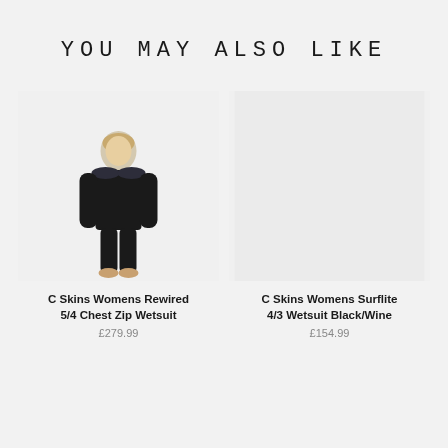YOU MAY ALSO LIKE
[Figure (photo): Woman wearing a black C Skins full-body wetsuit, standing facing forward against a white background]
C Skins Womens Rewired 5/4 Chest Zip Wetsuit
£279.99
[Figure (photo): Light grey/blank product image placeholder for C Skins Womens Surflite 4/3 Wetsuit Black/Wine]
C Skins Womens Surflite 4/3 Wetsuit Black/Wine
£154.99